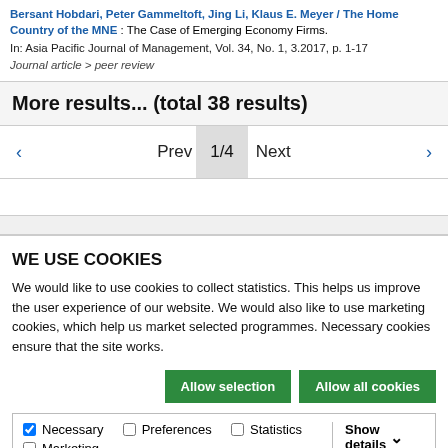Bersant Hobdari, Peter Gammeltoft, Jing Li, Klaus E. Meyer / The Home Country of the MNE : The Case of Emerging Economy Firms.
In: Asia Pacific Journal of Management, Vol. 34, No. 1, 3.2017, p. 1-17
Journal article > peer review
More results... (total 38 results)
< Prev 1/4 Next >
WE USE COOKIES
We would like to use cookies to collect statistics. This helps us improve the user experience of our website. We would also like to use marketing cookies, which help us market selected programmes. Necessary cookies ensure that the site works.
Allow selection | Allow all cookies
Necessary | Preferences | Statistics | Marketing | Show details